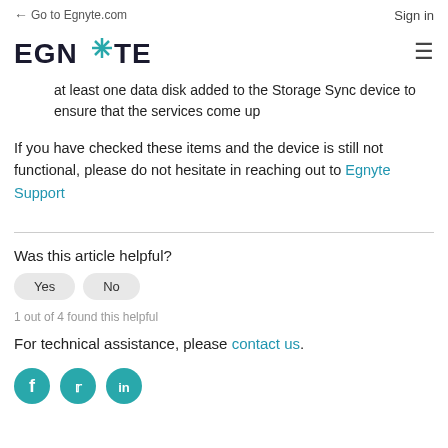← Go to Egnyte.com    Sign in
[Figure (logo): Egnyte logo with teal asterisk/star between GN and TE, and hamburger menu icon on right]
at least one data disk added to the Storage Sync device to ensure that the services come up
If you have checked these items and the device is still not functional, please do not hesitate in reaching out to Egnyte Support
Was this article helpful?
Yes   No
1 out of 4 found this helpful
For technical assistance, please contact us.